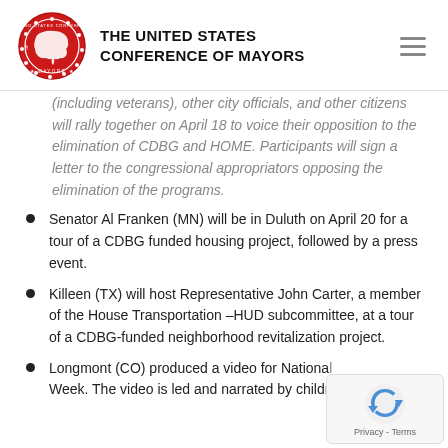THE UNITED STATES CONFERENCE OF MAYORS
(including veterans), other city officials, and other citizens will rally together on April 18 to voice their opposition to the elimination of CDBG and HOME. Participants will sign a letter to the congressional appropriators opposing the elimination of the programs.
Senator Al Franken (MN) will be in Duluth on April 20 for a tour of a CDBG funded housing project, followed by a press event.
Killeen (TX) will host Representative John Carter, a member of the House Transportation –HUD subcommittee, at a tour of a CDBG-funded neighborhood revitalization project.
Longmont (CO) produced a video for National Week. The video is led and narrated by children and